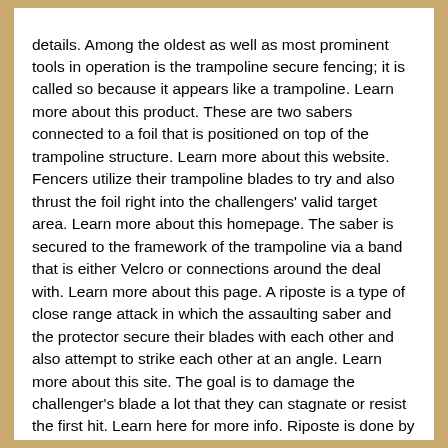details. Among the oldest as well as most prominent tools in operation is the trampoline secure fencing; it is called so because it appears like a trampoline. Learn more about this product. These are two sabers connected to a foil that is positioned on top of the trampoline structure. Learn more about this website. Fencers utilize their trampoline blades to try and also thrust the foil right into the challengers' valid target area. Learn more about this homepage. The saber is secured to the framework of the trampoline via a band that is either Velcro or connections around the deal with. Learn more about this page. A riposte is a type of close range attack in which the assaulting saber and the protector secure their blades with each other and also attempt to strike each other at an angle. Learn more about this site. The goal is to damage the challenger's blade a lot that they can stagnate or resist the first hit. Learn here for more info. Riposte is done by assaulting the challenger's blade with your own blade at an angle in such a way that it creates the challenger's blade to pass by the blade you have simply lowered. Learn here for more updates. The major advantage of doing this is that it is a valid attack, even if your blade is embeded the opponent's riposte. Learn here for more details. It can be a great strategy, even if they are not...